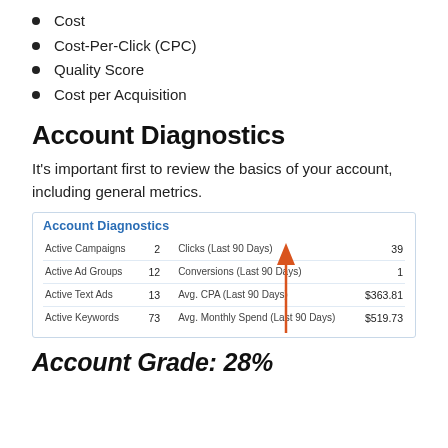Cost
Cost-Per-Click (CPC)
Quality Score
Cost per Acquisition
Account Diagnostics
It's important first to review the basics of your account, including general metrics.
|  |  | Clicks (Last 90 Days) | 39 |
| --- | --- | --- | --- |
| Active Campaigns | 2 | Clicks (Last 90 Days) | 39 |
| Active Ad Groups | 12 | Conversions (Last 90 Days) | 1 |
| Active Text Ads | 13 | Avg. CPA (Last 90 Days) | $363.81 |
| Active Keywords | 73 | Avg. Monthly Spend (Last 90 Days) | $519.73 |
Account Grade: 28%